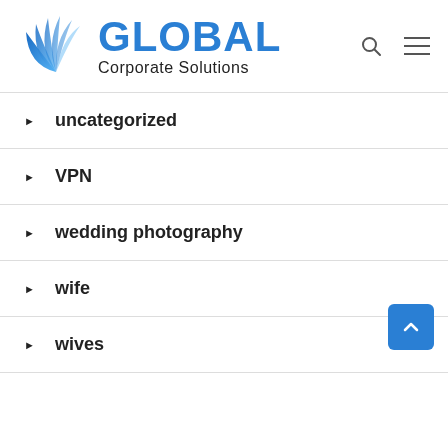[Figure (logo): Global Corporate Solutions logo with blue leaf/wing icon and blue GLOBAL text with Corporate Solutions subtitle]
uncategorized
VPN
wedding photography
wife
wives